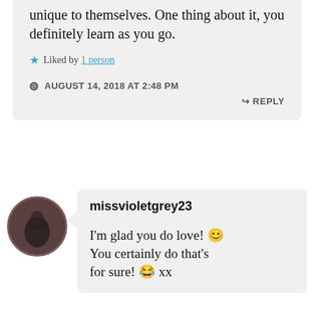unique to themselves. One thing about it, you definitely learn as you go.
Liked by 1 person
AUGUST 14, 2018 AT 2:48 PM
REPLY
missvioletgrey23
I'm glad you do love! 😊 You certainly do that's for sure! 😂 xx